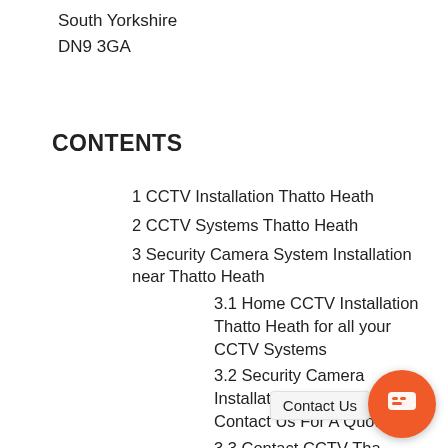South Yorkshire
DN9 3GA
CONTENTS
1 CCTV Installation Thatto Heath
2 CCTV Systems Thatto Heath
3 Security Camera System Installation near Thatto Heath
3.1 Home CCTV Installation Thatto Heath for all your CCTV Systems
3.2 Security Camera Installation Thatto Heath Contact Us For A Quote
3.3 Contact CCTV Tha
3.4 Frequently asked security camera
[Figure (other): Chat widget button (orange circle with chat icon) and Contact Us badge overlay]